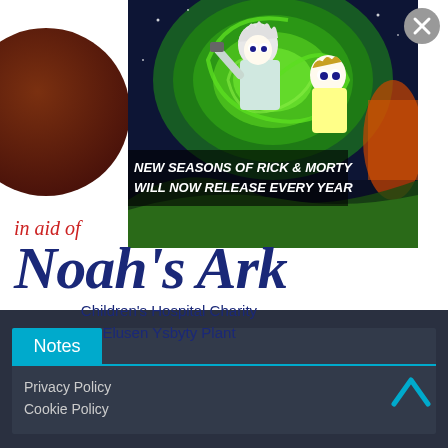[Figure (screenshot): Advertisement popup for Rick and Morty animated show. Dark space/portal background with cartoon characters Rick and Morty. Text reads: NEW SEASONS OF RICK & MORTY WILL NOW RELEASE EVERY YEAR. Close button (X) in top right corner.]
[Figure (logo): Noah's Ark Children's Hospital Charity logo. Text reads 'in aid of' in red italic, then 'Noah's Ark' in large dark blue italic script, then 'Children's Hospital Charity' and 'Elusen Ysbyty Plant' in smaller dark blue text.]
Notes
Privacy Policy
Cookie Policy